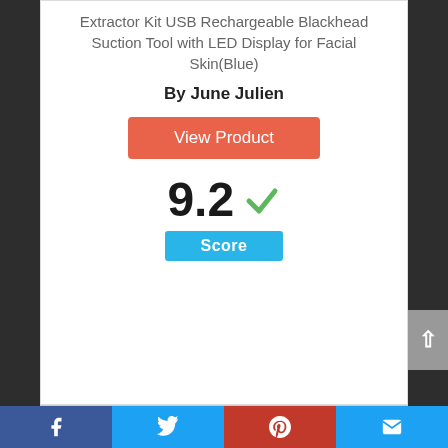Extractor Kit USB Rechargeable Blackhead Suction Tool with LED Display for Facial Skin(Blue)
By June Julien
View Product
9.2 Score
[Figure (infographic): Circle badge with number 3 inside, outlined in blue]
Facebook | Twitter | Pinterest | Email social share buttons